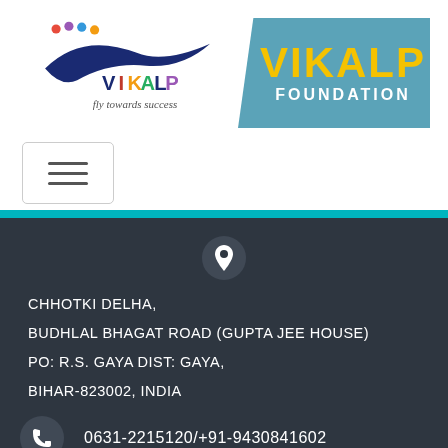[Figure (logo): Vikalp Foundation logo with bird/wave design in navy blue, colorful dots, text 'VIKALP fly towards success' on left and teal banner with 'VIKALP FOUNDATION' on right]
[Figure (other): Hamburger menu button (three horizontal lines) inside a rounded rectangle border]
CHHOTKI DELHA,
BUDHLAL BHAGAT ROAD (GUPTA JEE HOUSE)
PO: R.S. GAYA DIST: GAYA,
BIHAR-823002, INDIA
0631-2215120/+91-9430841602
vikalpfoundation@vikalp.org.in